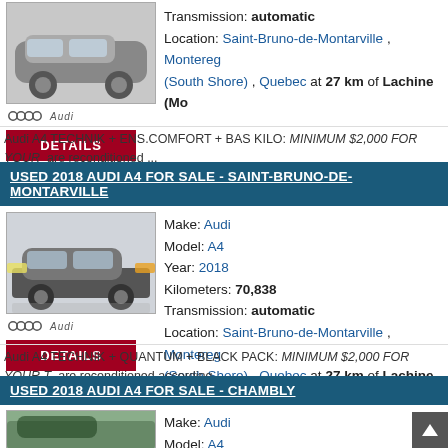[Figure (photo): Photo of a dark Audi A4 sedan in a showroom, with Audi logo and DETAILS button below]
Transmission: automatic
Location: Saint-Bruno-de-Montarville , Montereg (South Shore) , Quebec at 27 km of Lachine (Mo
Audi A4 TECHNIK + ENS.COMFORT + BAS KILO: MINIMUM $2,000 FOR YOUR ... are reconditioned ...
USED 2018 AUDI A4 FOR SALE - SAINT-BRUNO-DE-MONTARVILLE
[Figure (photo): Photo of a dark grey Audi A4 sedan in a showroom, with Audi logo and DETAILS button below]
Make: Audi
Model: A4
Year: 2018
Kilometers: 70,838
Transmission: automatic
Location: Saint-Bruno-de-Montarville , Montereg (South Shore) , Quebec at 27 km of Lachine (Mo
Audi A4 TECHNIK + QUANTUM + BLACK PACK: MINIMUM $2,000 FOR YOUR T... are reconditioned according ...
USED 2018 AUDI A4 FOR SALE - CHAMBLY
[Figure (photo): Partial photo of a dark Audi A4 sedan exterior, partially visible at bottom]
Make: Audi
Model: A4
Year: 2018